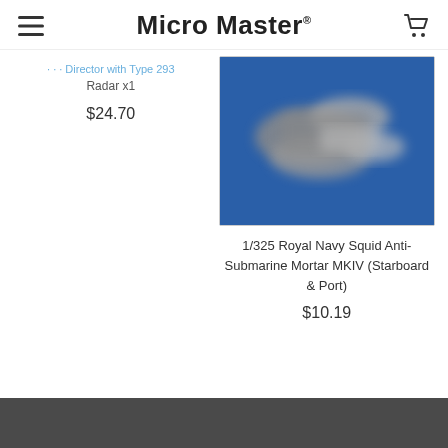Micro Master®
... Fire Director with Type 293 Radar x1
$24.70
[Figure (photo): Blurred photo of metal miniature naval parts on blue background — 1/325 Royal Navy Squid Anti-Submarine Mortar MKIV (Starboard & Port)]
1/325 Royal Navy Squid Anti-Submarine Mortar MKIV (Starboard & Port)
$10.19